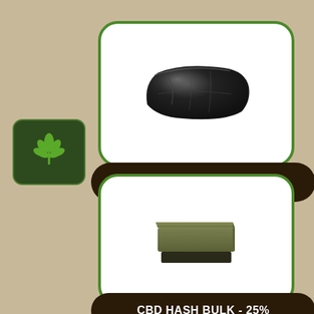[Figure (photo): Cannabis leaf logo on dark green rounded square background]
[Figure (photo): Dark black/shiny hash bulk product block wrapped in plastic]
CBD HASH BULK - 19%
[Figure (photo): Green/olive colored hash bulk product stacked in two rectangular slabs]
CBD HASH BULK - 25%